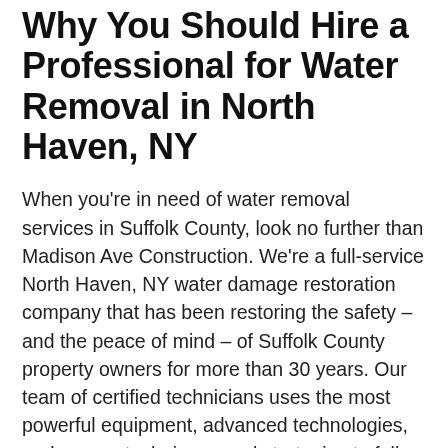Why You Should Hire a Professional for Water Removal in North Haven, NY
When you're in need of water removal services in Suffolk County, look no further than Madison Ave Construction. We're a full-service North Haven, NY water damage restoration company that has been restoring the safety – and the peace of mind – of Suffolk County property owners for more than 30 years. Our team of certified technicians uses the most powerful equipment, advanced technologies, and proven techniques and strategies to fully restore water-damaged properties to their pre-loss condition. Whether you've had a pipe burst in your business or the